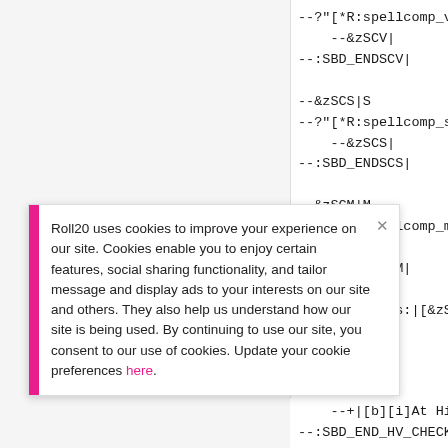--?"[*R:spellcomp_v]" -inc "v=1"|SBD_EN
    --&zSCV|
--:SBD_ENDSCV|

--&zSCS|S
--?"[*R:spellcomp_s]" -inc "s=1"|SBD_EN
    --&zSCS|
--:SBD_ENDSCS|

--&zSCM|M
--?"[*R:spellcomp_m]" -inc "m=1"|SBD_EN
    --&zSCM|
--:SBD_ENDSCM|

--+Components:|[&zSCV][&zSCS][&zSCM] [i
Roll20 uses cookies to improve your experience on our site. Cookies enable you to enjoy certain features, social sharing functionality, and tailor message and display ads to your interests on our site and others. They also help us understand how our site is being used. By continuing to use our site, you consent to our use of cookies. Update your cookie preferences here.
--+|[b][i]At Higher Levels.[/i][/b][*
--:SBD_END_HV_CHECK|